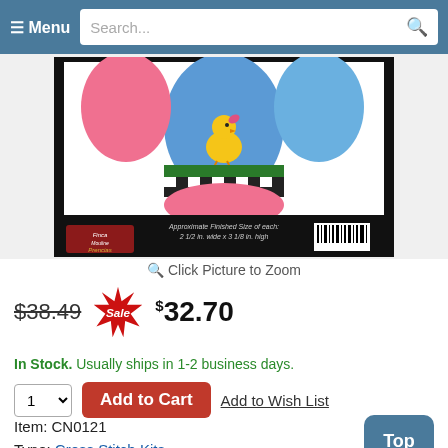≡ Menu  Search...
[Figure (photo): Cross stitch kit product package showing embroidered Easter eggs with chick design on black background, with Finca Mouline brand label]
🔍 Click Picture to Zoom
$38.49  Sale  $32.70
In Stock. Usually ships in 1-2 business days.
1 ▾  Add to Cart  Add to Wish List
Item: CN0121
Type: Cross Stitch Kits
Designer: Colonial Needle
Size: 2.5" x 3.125"